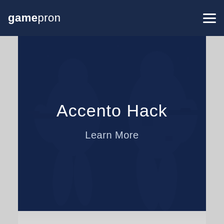gamepron
[Figure (screenshot): Hero banner with dark blue overlay showing a shadowy soldier/operator figure from a first-person shooter game (Counter-Strike style). Contains the title 'Accento Hack' and subtitle 'Learn More'.]
Accento Hack
Learn More